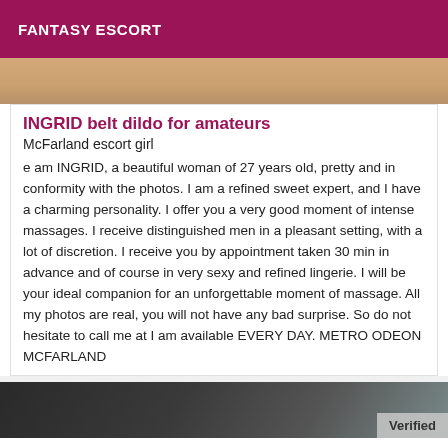FANTASY ESCORT
[Figure (photo): Top portion of a photo showing a person, cropped, beige/skin tones visible]
INGRID belt dildo for amateurs
McFarland escort girl
e am INGRID, a beautiful woman of 27 years old, pretty and in conformity with the photos. I am a refined sweet expert, and I have a charming personality. I offer you a very good moment of intense massages. I receive distinguished men in a pleasant setting, with a lot of discretion. I receive you by appointment taken 30 min in advance and of course in very sexy and refined lingerie. I will be your ideal companion for an unforgettable moment of massage. All my photos are real, you will not have any bad surprise. So do not hesitate to call me at I am available EVERY DAY. METRO ODEON MCFARLAND
[Figure (photo): Bottom photo of a person, partially visible, with a Verified badge in the bottom right corner]